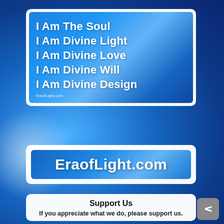[Figure (illustration): Blue cosmic background with light rays and bokeh effects, containing two white card panels and a partial third card. First card shows affirmation text in white bold letters on a blue gradient background. Second card shows EraofLight.com logo in white bold text on a blue gradient. Third card partially visible shows Support Us section.]
I Am The Soul
I Am Divine Light
I Am Divine Love
I Am Divine Will
I Am Divine Design
EraofLight.com
[Figure (logo): EraofLight.com logo in white bold text on blue gradient banner]
Support Us
If you appreciate what we do, please support us.